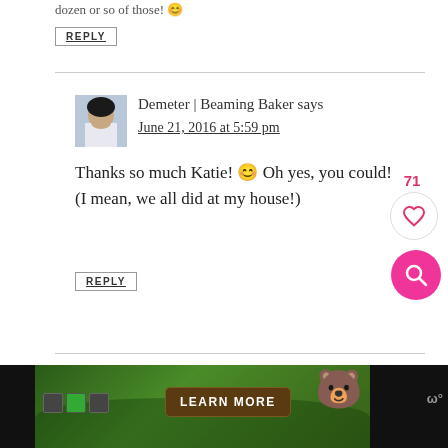dozen or so of those! 😊
REPLY
Demeter | Beaming Baker says
June 21, 2016 at 5:59 pm
Thanks so much Katie! 😊 Oh yes, you could! (I mean, we all did at my house!)
REPLY
[Figure (screenshot): Forest conservation advertisement banner with learn more button and Smokey Bear mascot]